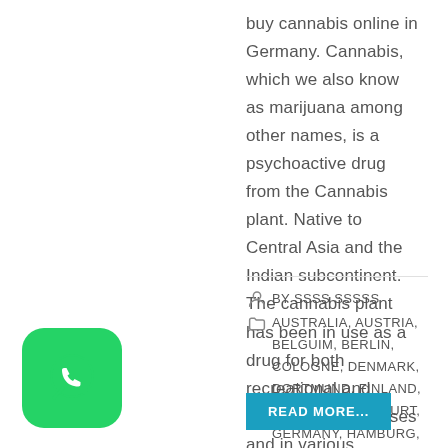buy cannabis online in Germany. Cannabis, which we also know as marijuana among other names, is a psychoactive drug from the Cannabis plant. Native to Central Asia and the Indian subcontinent. The cannabis plant has been in use as a drug for both recreational and entheogenic purposes and in various traditional medicines for centuries. Also, The most...
BY SSSS SSSSS
AUSTRALIA, AUSTRIA, BELGUIM, BERLIN, COLOGNE, DENMARK, DORTMUND, FINLAND, FRANCE, FRANKFURT, GERMANY, HAMBURG, MUNICH, NETHERLANDS, POLAND, SPAIN
0 COMMENTS
[Figure (logo): WhatsApp logo — green rounded square icon with white phone handset inside speech bubble]
READ MORE...